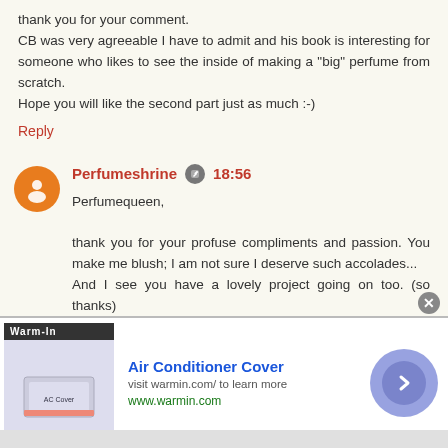thank you for your comment.
CB was very agreeable I have to admit and his book is interesting for someone who likes to see the inside of making a "big" perfume from scratch.
Hope you will like the second part just as much :-)
Reply
Perfumeshrine  18:56
Perfumequeen,

thank you for your profuse compliments and passion. You make me blush; I am not sure I deserve such accolades...
And I see you have a lovely project going on too. (so thanks)
[Figure (infographic): Infolinks ad bar and Air Conditioner Cover advertisement with Warm-In branding, visit warmin.com/ to learn more, www.warmin.com, with a navigation arrow button]